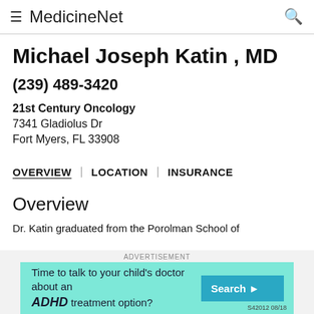MedicinNet
Michael Joseph Katin , MD
(239) 489-3420
21st Century Oncology
7341 Gladiolus Dr
Fort Myers, FL 33908
OVERVIEW | LOCATION | INSURANCE
Overview
Dr. Katin graduated from the Porolman School of
ADVERTISEMENT
Time to talk to your child's doctor about an ADHD treatment option? Search S42012 08/18